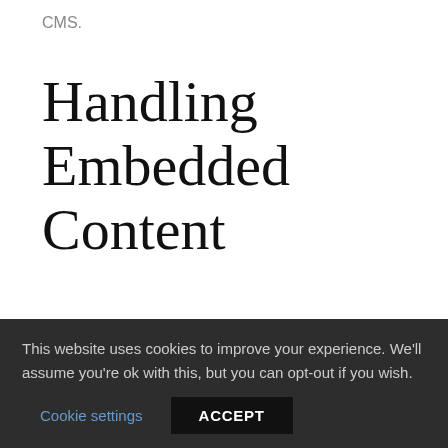CMS.
Handling Embedded Content
We can embed different media objects such as photos, videos, youtube, vimeo, flash, slideshows, and so on … within html pages. Embedding media objects can…
This website uses cookies to improve your experience. We'll assume you're ok with this, but you can opt-out if you wish. Cookie settings ACCEPT